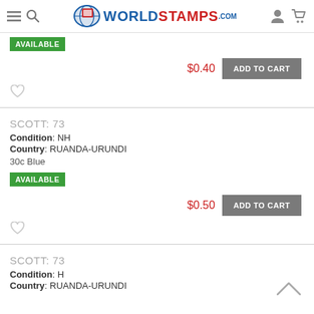WorldStamps.com
AVAILABLE
$0.40  ADD TO CART
♡
SCOTT: 73
Condition: NH
Country: RUANDA-URUNDI
30c Blue
AVAILABLE
$0.50  ADD TO CART
♡
SCOTT: 73
Condition: H
Country: RUANDA-URUNDI